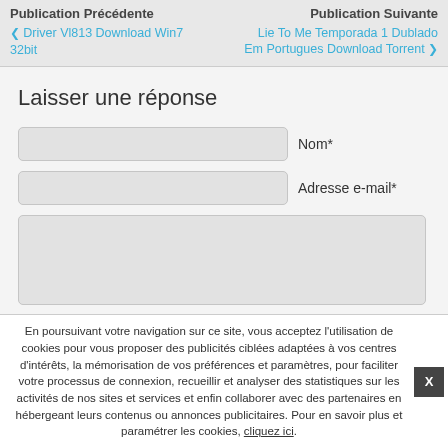Publication Précédente | Publication Suivante
❮ Driver Vl813 Download Win7 32bit
Lie To Me Temporada 1 Dublado Em Portugues Download Torrent ❯
Laisser une réponse
Nom*
Adresse e-mail*
En poursuivant votre navigation sur ce site, vous acceptez l'utilisation de cookies pour vous proposer des publicités ciblées adaptées à vos centres d'intérêts, la mémorisation de vos préférences et paramètres, pour faciliter votre processus de connexion, recueillir et analyser des statistiques sur les activités de nos sites et services et enfin collaborer avec des partenaires en hébergeant leurs contenus ou annonces publicitaires. Pour en savoir plus et paramétrer les cookies, cliquez ici.